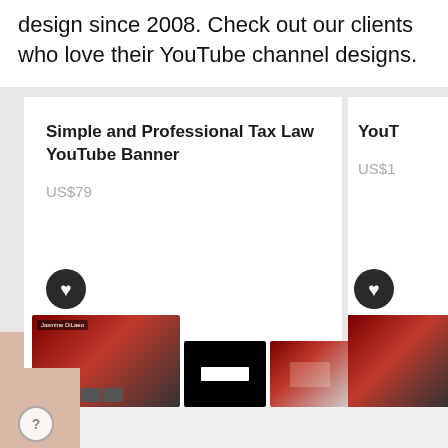design since 2008. Check out our clients who love their YouTube channel designs.
Simple and Professional Tax Law YouTube Banner
US$79
[Figure (screenshot): YouTube channel design thumbnail showing a channel page with red and dark theme, featuring 'Jasmine DiLaeo' branding]
YouT
US$1